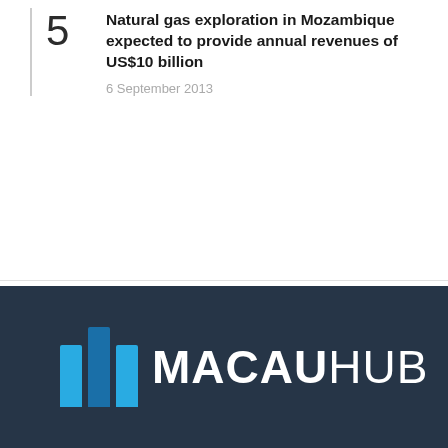5 Natural gas exploration in Mozambique expected to provide annual revenues of US$10 billion — 6 September 2013
[Figure (logo): Macau Hub logo: three blue vertical bars of varying height followed by the text MACAUHUB in white on a dark navy background]